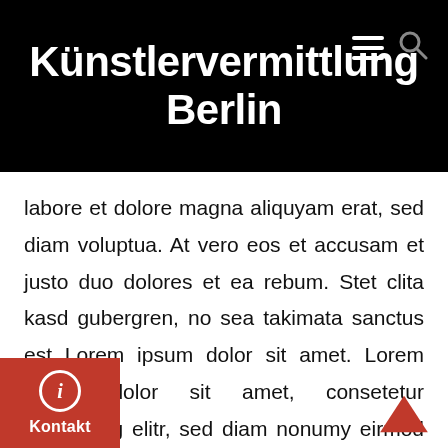Künstlervermittlung Berlin
labore et dolore magna aliquyam erat, sed diam voluptua. At vero eos et accusam et justo duo dolores et ea rebum. Stet clita kasd gubergren, no sea takimata sanctus est Lorem ipsum dolor sit amet. Lorem ipsum dolor sit amet, consetetur sadipscing elitr, sed diam nonumy eirmod tempor invidunt ut labore et dolore magna aliquyam erat, sed diam voluptua. At vero eos et accusam et duo dolores et ea rebum. Stet clita kasd gubergren, no sea takimata sanctus est L
Kontakt